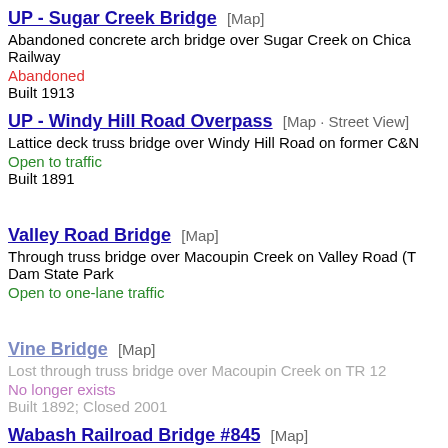UP - Sugar Creek Bridge [Map]
Abandoned concrete arch bridge over Sugar Creek on Chicago Railway
Abandoned
Built 1913
UP - Windy Hill Road Overpass [Map · Street View]
Lattice deck truss bridge over Windy Hill Road on former C&N
Open to traffic
Built 1891
Valley Road Bridge [Map]
Through truss bridge over Macoupin Creek on Valley Road (T Dam State Park
Open to one-lane traffic
Vine Bridge [Map]
Lost through truss bridge over Macoupin Creek on TR 12
No longer exists
Built 1892; Closed 2001
Wabash Railroad Bridge #845 [Map]
Slab bridge over Unknown creek on Wabash, later N&W, now